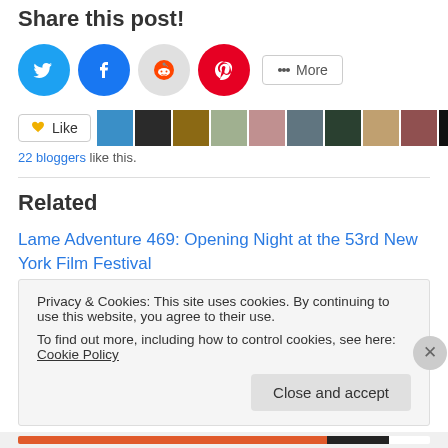Share this post!
[Figure (other): Social share buttons: Twitter (blue), Facebook (blue), Reddit (light gray), Pinterest (red), and a More button]
[Figure (other): Like button with star icon followed by a row of 10 blogger avatar photos]
22 bloggers like this.
Related
Lame Adventure 469: Opening Night at the 53rd New York Film Festival
September 28, 2015
In "film"
Privacy & Cookies: This site uses cookies. By continuing to use this website, you agree to their use.
To find out more, including how to control cookies, see here: Cookie Policy
Close and accept